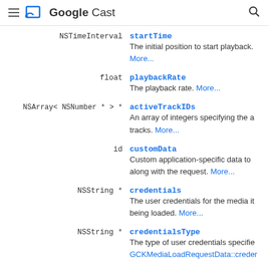Google Cast
NSTimeInterval  startTime
The initial position to start playback. More...
float  playbackRate
The playback rate. More...
NSArray< NSNumber * > *  activeTrackIDs
An array of integers specifying the a tracks. More...
id  customData
Custom application-specific data to along with the request. More...
NSString *  credentials
The user credentials for the media it being loaded. More...
NSString *  credentialsType
The type of user credentials specifie GCKMediaLoadRequestData::creder